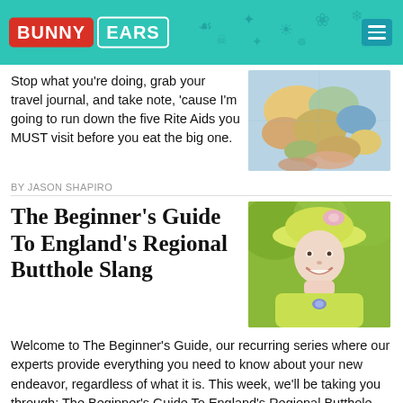Bunny Ears
Stop what you're doing, grab your travel journal, and take note, 'cause I'm going to run down the five Rite Aids you MUST visit before you eat the big one.
[Figure (photo): Photo of a world map being pointed at by hands]
BY JASON SHAPIRO
The Beginner's Guide To England's Regional Butthole Slang
[Figure (photo): Photo of an elderly woman in a yellow hat and outfit, smiling]
Welcome to The Beginner's Guide, our recurring series where our experts provide everything you need to know about your new endeavor, regardless of what it is. This week, we'll be taking you through: The Beginner's Guide To England's Regional Butthole Slang The United Kingdom is a very small country, but it's such an old country [...]